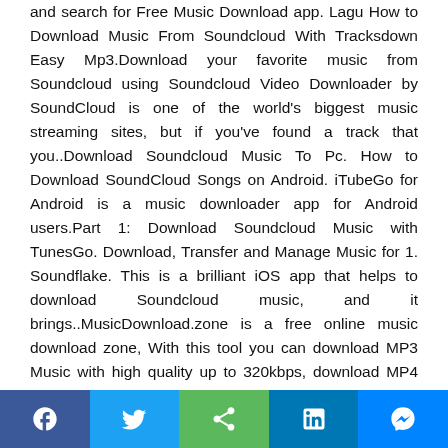and search for Free Music Download app. Lagu How to Download Music From Soundcloud With Tracksdown Easy Mp3.Download your favorite music from Soundcloud using Soundcloud Video Downloader by SoundCloud is one of the world's biggest music streaming sites, but if you've found a track that you..Download Soundcloud Music To Pc. How to Download SoundCloud Songs on Android. iTubeGo for Android is a music downloader app for Android users.Part 1: Download Soundcloud Music with TunesGo. Download, Transfer and Manage Music for 1. Soundflake. This is a brilliant iOS app that helps to download Soundcloud music, and it brings..MusicDownload.zone is a free online music download zone, With this tool you can download MP3 Music with high quality up to 320kbps, download MP4 Videos from Facebook, Vimeo, TikTok and..Hassle free Creative Commons music. Search and download free high quality music for podcasts, phone messages, background music for your business,
[Figure (infographic): Social sharing bar with five buttons: Facebook (blue), Twitter (light blue), Share/generic (green), LinkedIn (dark blue), Messenger (blue)]